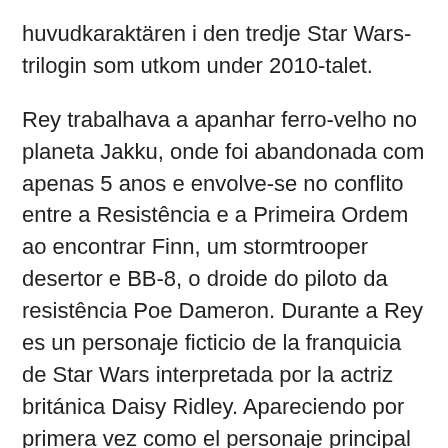huvudkaraktären i den tredje Star Wars-trilogin som utkom under 2010-talet.
Rey trabalhava a apanhar ferro-velho no planeta Jakku, onde foi abandonada com apenas 5 anos e envolve-se no conflito entre a Resistência e a Primeira Ordem ao encontrar Finn, um stormtrooper desertor e BB-8, o droide do piloto da resistência Poe Dameron. Durante a Rey es un personaje ficticio de la franquicia de Star Wars interpretada por la actriz británica Daisy Ridley. Apareciendo por primera vez como el personaje principal de Star Wars: Episodio VII - El despertar de la Fuerza, [1] [2] Rey es una chatarrera cuyos padres la abandonaron en el desértico planeta de Jakku cuando era una 2021-04-11 · The Star Wars Sequel Trilogy tried to give Rey a hero's journey and set up